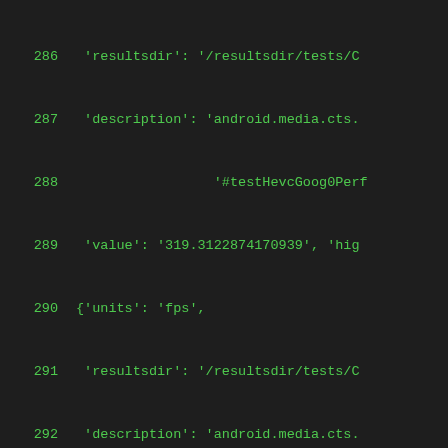Code listing lines 286-306 showing Python/JSON data structure with resultsdir, description, and value fields for media performance tests
286   'resultsdir': '/resultsdir/tests/Ct
287   'description': 'android.media.cts.
288                   '#testHevcGoog0Perf
289   'value': '319.3122874170939', 'high
290 {'units': 'fps',
291   'resultsdir': '/resultsdir/tests/Ct
292   'description': 'android.media.cts.
293                   '#testHevcGoog0Perf
294   'value': '120.89218432028369', 'high
295 {'units': 'fps',
296   'resultsdir': '/resultsdir/tests/Ct
297   'description': 'android.media.cts.
298                   '#testMpeg4Goog0Perf
299   'value': '1851.890822618321', 'high
300 {'units': 'fps',
301   'resultsdir': '/resultsdir/tests/Ct
302   'description': 'android.media.cts.
303                   '#testVp8Goog0Perf0
304   'value': '1087.946513466716', 'high
305 {'units': 'fps',
306   'resultsdir': '/resultsdir/tests/Ct